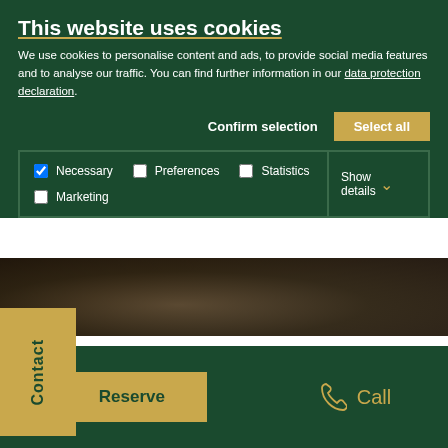This website uses cookies
We use cookies to personalise content and ads, to provide social media features and to analyse our traffic. You can find further information in our data protection declaration.
Confirm selection
Select all
Necessary  Preferences  Statistics  Marketing  Show details
[Figure (photo): Dark partial photo visible behind cookie overlay]
Contact
04/01/2015
Reserve
Call